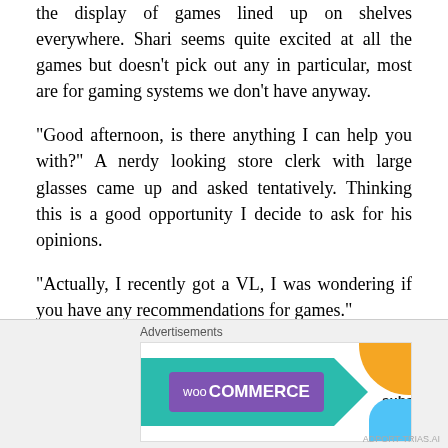the display of games lined up on shelves everywhere. Shari seems quite excited at all the games but doesn't pick out any in particular, most are for gaming systems we don't have anyway.
“Good afternoon, is there anything I can help you with?” A nerdy looking store clerk with large glasses came up and asked tentatively. Thinking this is a good opportunity I decide to ask for his opinions.
“Actually, I recently got a VL, I was wondering if you have any recommendations for games.”
“Well, there actually isn’t an overly lot of games, after its initial launch. For...
Advertisements
[Figure (infographic): WooCommerce advertisement banner with teal arrow shape, purple WooCommerce badge, text 'How to start selling subscriptions online', orange and blue decorative shapes.]